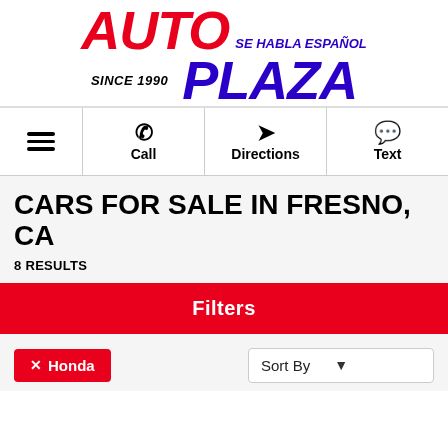[Figure (logo): Auto Plaza dealership logo — 'AUTO' in bold italic red, 'PLAZA' in bold italic blue/purple, 'SE HABLA ESPAÑOL' in blue italic, 'SINCE 1990' in black italic]
Call | Directions | Text
CARS FOR SALE IN FRESNO, CA
8 RESULTS
Filters
Sort By
✕ Honda